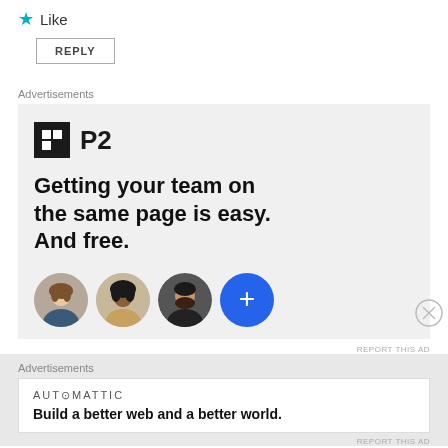★ Like
REPLY
Advertisements
[Figure (illustration): P2 advertisement with logo, headline 'Getting your team on the same page is easy. And free.' and three circular avatar photos plus a blue plus button]
REPORT THIS AD
Advertisements
[Figure (illustration): Automattic advertisement with logo 'AUT⊙MATTIC' and tagline 'Build a better web and a better world.']
REPORT THIS AD